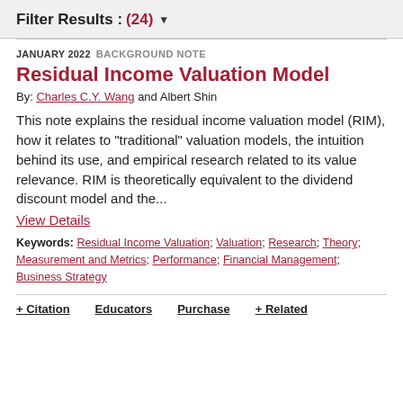Filter Results : (24)
JANUARY 2022   BACKGROUND NOTE
Residual Income Valuation Model
By: Charles C.Y. Wang and Albert Shin
This note explains the residual income valuation model (RIM), how it relates to "traditional" valuation models, the intuition behind its use, and empirical research related to its value relevance. RIM is theoretically equivalent to the dividend discount model and the...
View Details
Keywords: Residual Income Valuation; Valuation; Research; Theory; Measurement and Metrics; Performance; Financial Management; Business Strategy
+ Citation   Educators   Purchase   + Related